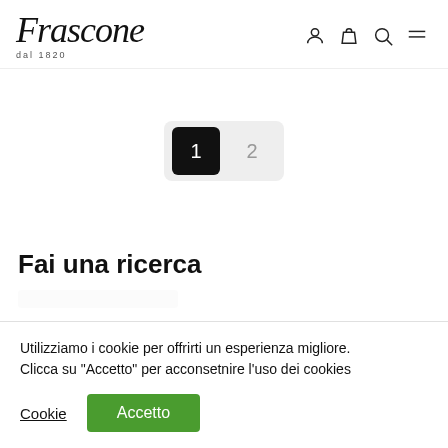Frascone dal 1820
[Figure (other): Pagination widget showing page 1 (active, black) and page 2 (inactive, grey)]
Fai una ricerca
Utilizziamo i cookie per offrirti un esperienza migliore. Clicca su "Accetto" per acconsetnire l'uso dei cookies
Cookie  Accetto